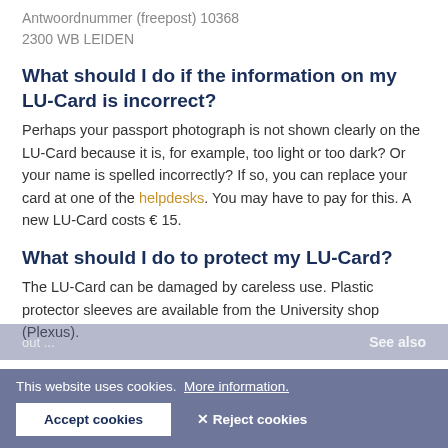Antwoordnummer (freepost) 10368
2300 WB LEIDEN
What should I do if the information on my LU-Card is incorrect?
Perhaps your passport photograph is not shown clearly on the LU-Card because it is, for example, too light or too dark? Or your name is spelled incorrectly? If so, you can replace your card at one of the helpdesks. You may have to pay for this. A new LU-Card costs € 15.
What should I do to protect my LU-Card?
The LU-Card can be damaged by careless use. Plastic protector sleeves are available from the University shop (Plexus).
This website uses cookies. More information.
Accept cookies
✕ Reject cookies